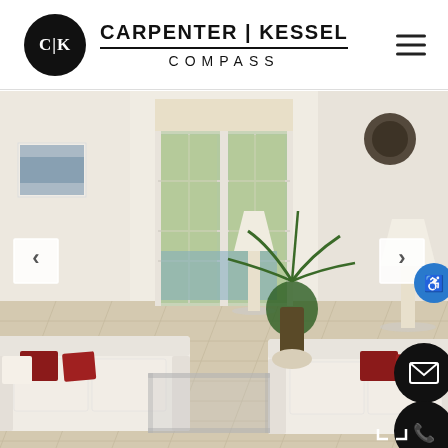[Figure (logo): Carpenter | Kessel Compass real estate logo with circular CK emblem]
[Figure (photo): Interior photo of a bright white living room with two white sofas, red accent pillows, a glass coffee table, a large potted palm tree, floor-to-ceiling glass French doors leading to an outdoor pool area, and large white tile flooring. Navigation arrows on left and right sides.]